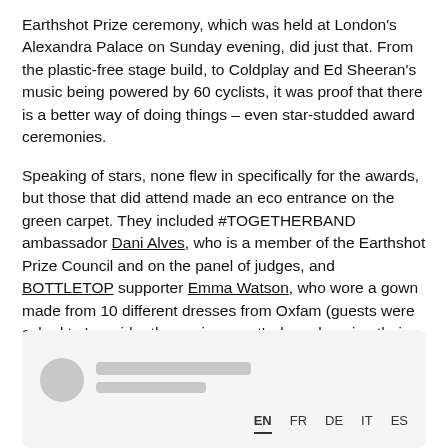Earthshot Prize ceremony, which was held at London's Alexandra Palace on Sunday evening, did just that. From the plastic-free stage build, to Coldplay and Ed Sheeran's music being powered by 60 cyclists, it was proof that there is a better way of doing things – even star-studded award ceremonies.
Speaking of stars, none flew in specifically for the awards, but those that did attend made an eco entrance on the green carpet. They included #TOGETHERBAND ambassador Dani Alves, who is a member of the Earthshot Prize Council and on the panel of judges, and BOTTLETOP supporter Emma Watson, who wore a gown made from 10 different dresses from Oxfam (guests were asked to 'consider the environment' when choosing their outfits).
[Figure (other): A card or widget box with a circular avatar placeholder, two grey text line placeholders, and a language selector bar showing EN (active), FR, DE, IT, ES at the bottom right.]